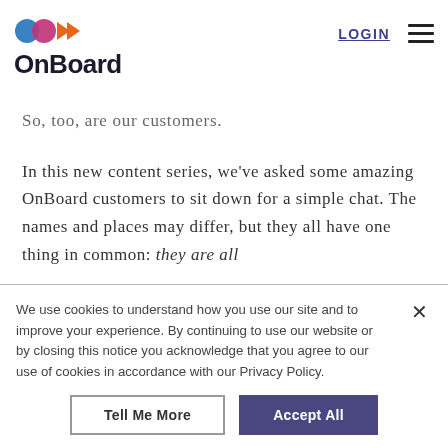[Figure (logo): OnBoard logo with colorful icon (blue circle, pink/magenta circle, orange arrows) and bold 'OnBoard' text in dark navy]
LOGIN
So, too, are our customers.
In this new content series, we've asked some amazing OnBoard customers to sit down for a simple chat. The names and places may differ, but they all have one thing in common: they are all
We use cookies to understand how you use our site and to improve your experience. By continuing to use our website or by closing this notice you acknowledge that you agree to our use of cookies in accordance with our Privacy Policy.